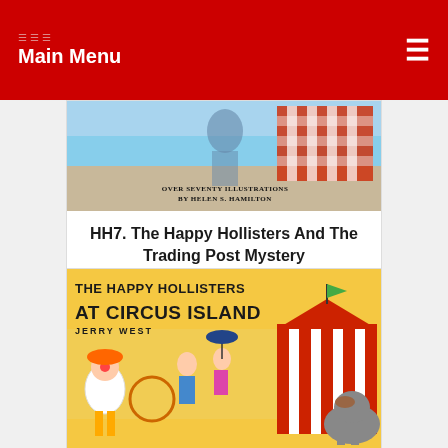Main Menu
[Figure (illustration): Book cover image of The Happy Hollisters And The Trading Post Mystery, with illustrated scene and checkered pattern]
HH7. The Happy Hollisters And The Trading Post Mystery
$11.95
[Figure (illustration): Book cover of The Happy Hollisters At Circus Island by Jerry West, showing a circus scene with clown, elephant, children, and striped tent on yellow background]